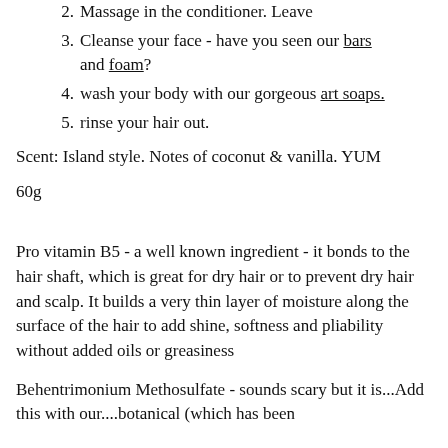2. Massage in the conditioner. Leave
3. Cleanse your face - have you seen our bars and foam?
4. wash your body with our gorgeous art soaps.
5. rinse your hair out.
Scent: Island style. Notes of coconut & vanilla. YUM
60g
Pro vitamin B5 - a well known ingredient - it bonds to the hair shaft, which is great for dry hair or to prevent dry hair and scalp. It builds a very thin layer of moisture along the surface of the hair to add shine, softness and pliability without added oils or greasiness
Behentrimonium Methosulfate - sounds scary but it is...Add this with our....botanical (which has been...